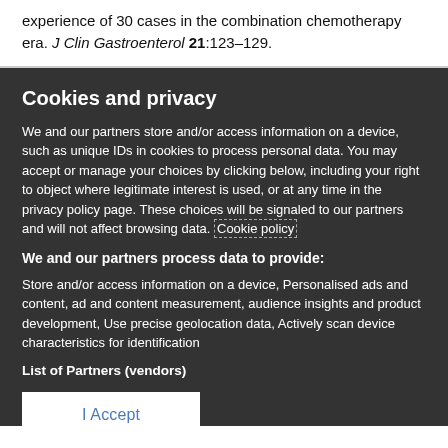experience of 30 cases in the combination chemotherapy era. J Clin Gastroenterol 21:123–129.
Cookies and privacy
We and our partners store and/or access information on a device, such as unique IDs in cookies to process personal data. You may accept or manage your choices by clicking below, including your right to object where legitimate interest is used, or at any time in the privacy policy page. These choices will be signaled to our partners and will not affect browsing data. Cookie policy
We and our partners process data to provide:
Store and/or access information on a device, Personalised ads and content, ad and content measurement, audience insights and product development, Use precise geolocation data, Actively scan device characteristics for identification
List of Partners (vendors)
I Accept